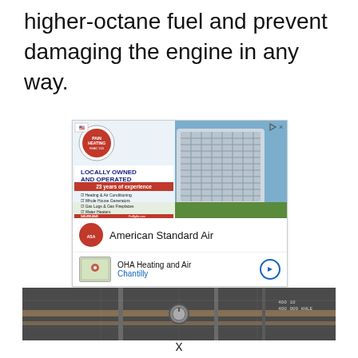higher-octane fuel and prevent damaging the engine in any way.
[Figure (photo): Advertisement for OHA Heating and Air / American Standard Air HVAC services, showing HVAC units, logo, locally owned and operated text, 23 years of experience, list of services, phone 540-899-8045, FixMyAir.com, American Standard Air brand row, and OHA Heating and Air Chantilly location row.]
[Figure (photo): Dark horizontal photo strip showing pipes, gauges, and industrial equipment with a grid overlay.]
x